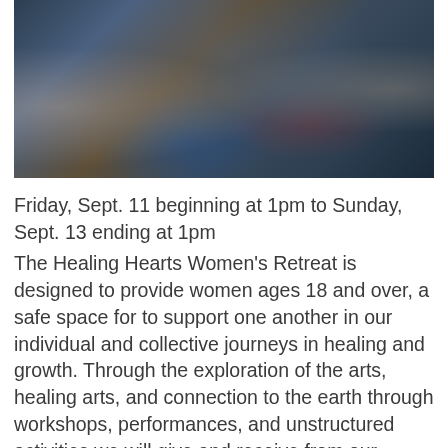[Figure (photo): Group of women sitting at a long table sharing a meal, smiling and laughing, cafeteria-style trays with food visible, indoor setting.]
Friday, Sept. 11 beginning at 1pm to Sunday, Sept. 13 ending at 1pm
The Healing Hearts Women's Retreat is designed to provide women ages 18 and over, a safe space for to support one another in our individual and collective journeys in healing and growth. Through the exploration of the arts, healing arts, and connection to the earth through workshops, performances, and unstructured activities we will give and receive from our knowing, expertise, and experience so that each may heal more deeply and stretch into living her truth more fully. Our aim is to deepen our sense of community among women, increase our personal peace and well-being, and empower ourselves to be more